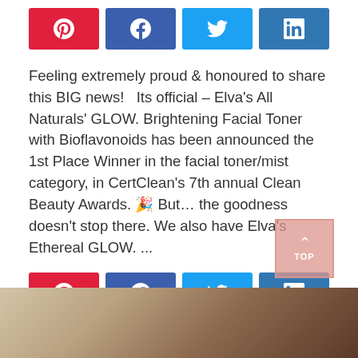[Figure (infographic): Social share buttons row: Pinterest (red), Facebook (blue), Twitter (light blue), LinkedIn (steel blue)]
Feeling extremely proud & honoured to share this BIG news!   Its official – Elva's All Naturals' GLOW. Brightening Facial Toner with Bioflavonoids has been announced the 1st Place Winner in the facial toner/mist category, in CertClean's 7th annual Clean Beauty Awards. 🎉 But… the goodness doesn't stop there. We also have Elva's Ethereal GLOW. ...
[Figure (infographic): Social share buttons row (bottom): Pinterest (red), Facebook (blue), Twitter (light blue), LinkedIn (steel blue)]
[Figure (photo): Partial photo of beauty/cosmetic product, warm brown tones, cropped at bottom of page]
[Figure (other): TOP button - back to top navigation button, semi-transparent salmon/pink color with upward arrow and TOP text]